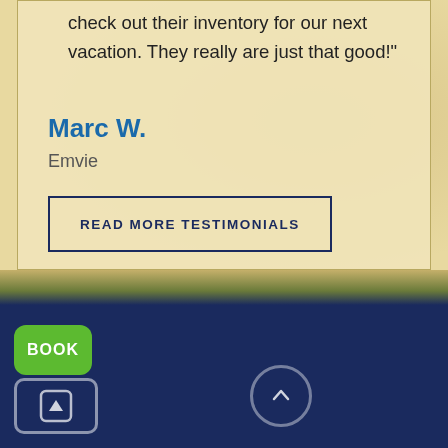check out their inventory for our next vacation. They really are just that good!"
Marc W.
Emvie
READ MORE TESTIMONIALS
SIGN UP AND RECEIVE A US $100 CREDIT
[Figure (other): Green BOOK button and navigation icons overlay on dark navy background]